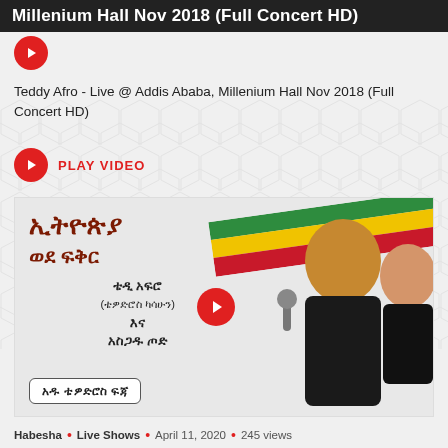Millenium Hall Nov 2018 (Full Concert HD)
[Figure (other): Small red play button icon]
Teddy Afro - Live @ Addis Ababa, Millenium Hall Nov 2018 (Full Concert HD)
PLAY VIDEO
[Figure (photo): YouTube thumbnail showing Teddy Afro concert with Ethiopian Amharic text and two performers singing, Ethiopian flag colors in background]
Habesha • Live Shows • April 11, 2020 • 245 views